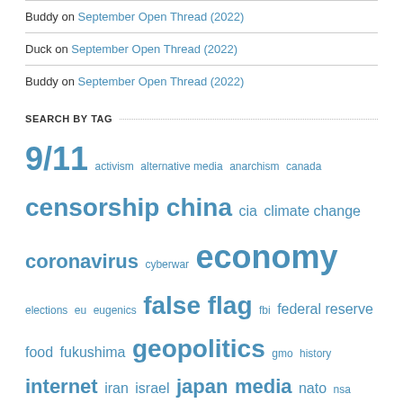Buddy on September Open Thread (2022)
Duck on September Open Thread (2022)
Buddy on September Open Thread (2022)
SEARCH BY TAG
9/11 activism alternative media anarchism canada censorship china cia climate change coronavirus cyberwar economy elections eu eugenics false flag fbi federal reserve food fukushima geopolitics gmo history internet iran israel japan media nato nsa nuclear obama philosophy police state propaganda resistance russia solutions spying syria technocracy terror us vaccines war
IPFS BACKUP
[Figure (illustration): The Corbett Report logo image on dark blue background with network pattern]